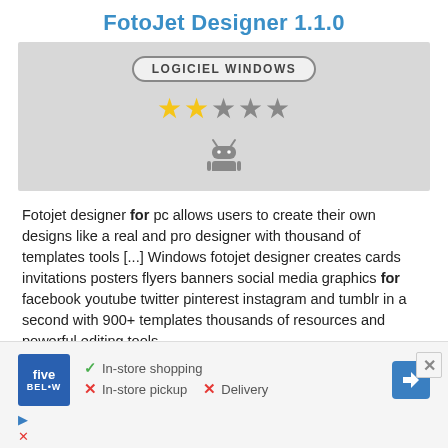FotoJet Designer 1.1.0
[Figure (infographic): Gray box with LOGICIEL WINDOWS badge, 2.5 star rating (2 gold, 0.5 gold, 2 gray stars), and Android robot icon]
Fotojet designer for pc allows users to create their own designs like a real and pro designer with thousand of templates tools [...] Windows fotojet designer creates cards invitations posters flyers banners social media graphics for facebook youtube twitter pinterest instagram and tumblr in a second with 900+ templates thousands of resources and powerful editing tools.
It has a variety of stunning posters banners flyers youtube channel arts greeting cards business cards as ready made templates which you can directly use or modify for your own use / it gives thematic & eve
[Figure (infographic): Advertisement: Five Below store with In-store shopping (checkmark), In-store pickup (cross), Delivery (cross), blue arrow badge, and close button]